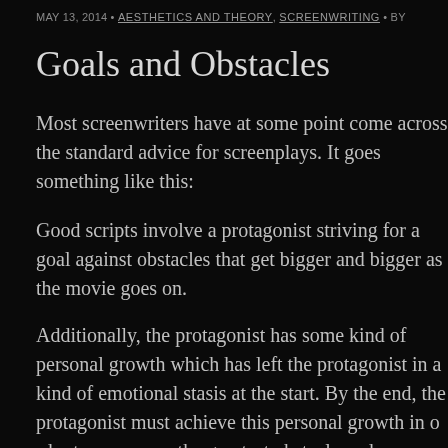MAY 13, 2014 • AESTHETICS AND THEORY, SCREENWRITING • BY
Goals and Obstacles
Most screenwriters have at some point come across the standard advice for screenplays. It goes something like this:
Good scripts involve a protagonist striving for a goal against obstacles that get bigger and bigger as the movie goes on.
Additionally, the protagonist has some kind of personal growth which has left the protagonist in a kind of emotional stasis at the start. By the end, the protagonist must achieve this personal growth in order to overcome the greatest obstacle and accomplish the goal, or fail to change and thus fail to accomplish the goal.
Furthermore, a good screenplay is divided into three acts and there are certain milestones you should reach at specific points in each act. Fo